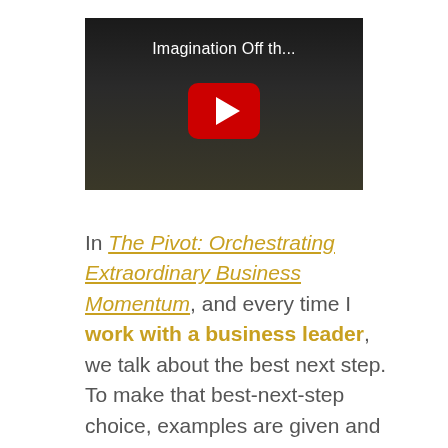[Figure (screenshot): YouTube video thumbnail showing a person in a dark setting with a red YouTube play button overlay and white title text 'Imagination Off th...']
In The Pivot: Orchestrating Extraordinary Business Momentum, and every time I work with a business leader, we talk about the best next step. To make that best-next-step choice, examples are given and questions are asked. So I will end this post with both. View the 4 min video clip